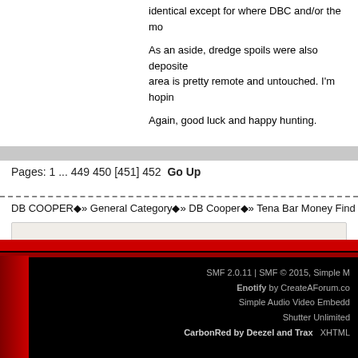identical except for where DBC and/or the mo...
As an aside, dredge spoils were also deposited... area is pretty remote and untouched. I'm hopin...
Again, good luck and happy hunting.
Pages: 1 ... 449 450 [451] 452   Go Up
DB COOPER❖» General Category❖» DB Cooper❖» Tena Bar Money Find
SMF 2.0.11 | SMF © 2015, Simple M... | Enotify by CreateAForum.co... | Simple Audio Video Embedd... | Shutter Unlimited | CarbonRed by Deezel and Trax   XHTML...